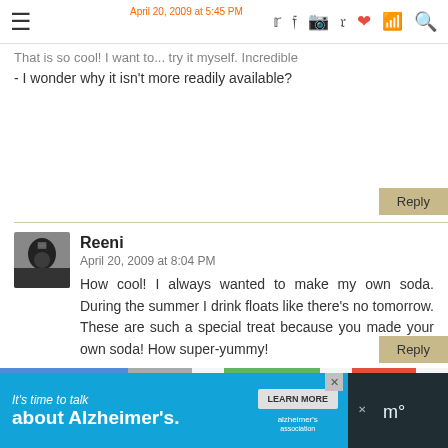Navigation bar with hamburger menu and social icons
April 20, 2009 at 5:45 PM
That is so cool! I want to ... - I wonder why it isn't more readily available?
Reply
Reeni
April 20, 2009 at 8:04 PM
How cool! I always wanted to make my own soda. During the summer I drink floats like there's no tomorrow. These are such a special treat because you made your own soda! How super-yummy!
Reply
Mary Bergfeld
[Figure (photo): User avatar photo of Reeni - person holding camera]
[Figure (photo): Mary Bergfeld avatar - orange circle with blogger B icon]
[Figure (infographic): Alzheimer's association advertisement banner - It's time to talk about Alzheimer's. Learn More button with AL logo.]